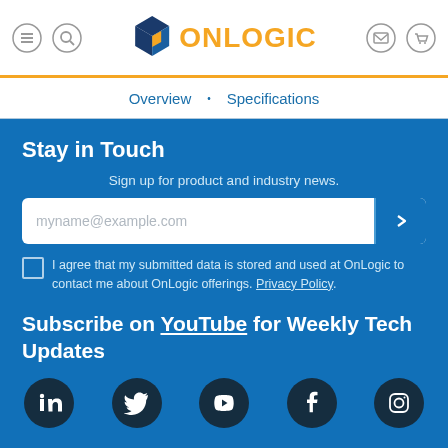[Figure (logo): OnLogic logo with dark blue cube icon and orange ONLOGIC text, navigation icons on left (menu, search) and right (email, cart)]
Overview • Specifications
Stay in Touch
Sign up for product and industry news.
myname@example.com [email input field with submit button]
I agree that my submitted data is stored and used at OnLogic to contact me about OnLogic offerings. Privacy Policy.
Subscribe on YouTube for Weekly Tech Updates
[Figure (infographic): Row of 5 social media icons: LinkedIn, Twitter, YouTube, Facebook, Instagram — all white on dark navy circles]